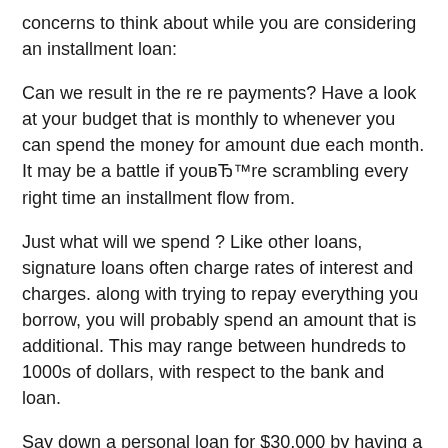concerns to think about while you are considering an installment loan:
Can we result in the re re payments? Have a look at your budget that is monthly to whenever you can spend the money for amount due each month. It may be a battle if youвЂ™re scrambling every right time an installment flow from.
Just what will we spend ? Like other loans, signature loans often charge rates of interest and charges. along with trying to repay everything you borrow, you will probably spend an amount that is additional. This may range between hundreds to 1000s of dollars, with respect to the bank and loan.
Say down a personal loan for $30,000 by having a 10 percent apr (APR). APR are your interest stated as a annual price. In easier terms, itвЂ™s you spend to . Therefore you could end up paying more than $40,000 total if you took seven years to pay back this loan.?